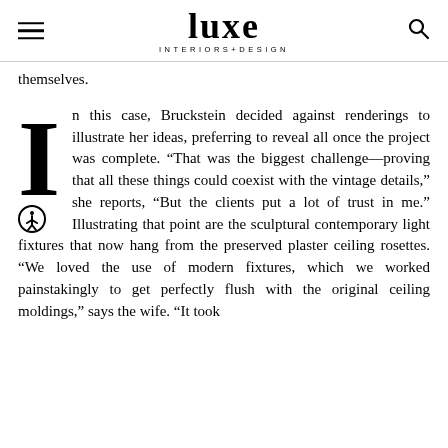luxe INTERIORS+DESIGN
themselves.
In this case, Bruckstein decided against renderings to illustrate her ideas, preferring to reveal all once the project was complete. “That was the biggest challenge—proving that all these things could coexist with the vintage details,” she reports, “But the clients put a lot of trust in me.” Illustrating that point are the sculptural contemporary light fixtures that now hang from the preserved plaster ceiling rosettes. “We loved the use of modern fixtures, which we worked painstakingly to get perfectly flush with the original ceiling moldings,” says the wife. “It took